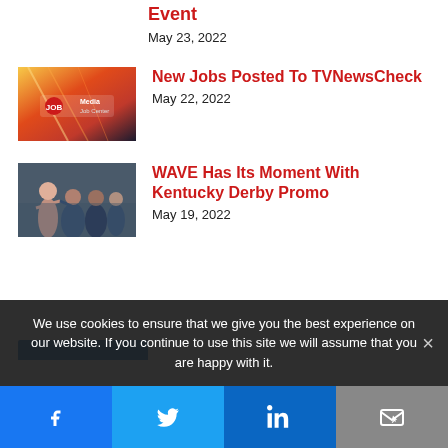Event
May 23, 2022
[Figure (photo): Media Job Center logo with colorful city background]
New Jobs Posted To TVNewsCheck
May 22, 2022
[Figure (photo): People celebrating outdoors, Kentucky Derby promo]
WAVE Has Its Moment With Kentucky Derby Promo
May 19, 2022
We use cookies to ensure that we give you the best experience on our website. If you continue to use this site we will assume that you are happy with it.
Facebook Twitter LinkedIn Email